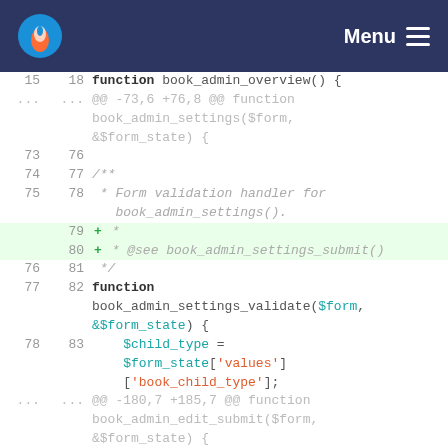Menu (navigation bar with logo)
[Figure (screenshot): Code diff view showing PHP function definitions with line numbers. Lines 15/18 show function book_admin_overview(), diff hunk @@ -73,6 +76,8 @@ function book_admin_settings($form, &$form_state) {, lines 73-78 show JSDoc comment block, lines 79-80 are added lines with + * and + * @see book_admin_settings_submit(), lines 76-83 show */  function book_admin_settings_validate($form, &$form_state) {, line 78/83 shows $child_type = $form_state['values']['book_child_type'];, and diff hunk @@ -180,7 +185,7 @@ function book_admin_edit_submit($form, &$form_state) {]